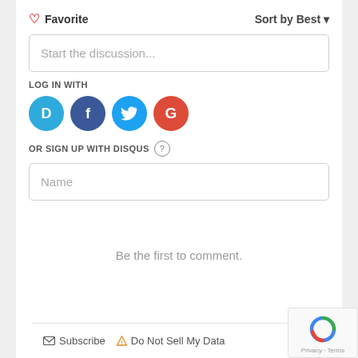♡ Favorite
Sort by Best ▾
Start the discussion...
LOG IN WITH
[Figure (other): Social login icons: Disqus (D), Facebook (f), Twitter bird, Google (G)]
OR SIGN UP WITH DISQUS ?
Name
Be the first to comment.
✉ Subscribe  ⚠ Do Not Sell My Data   DISQU[s logo]   Privacy · Terms